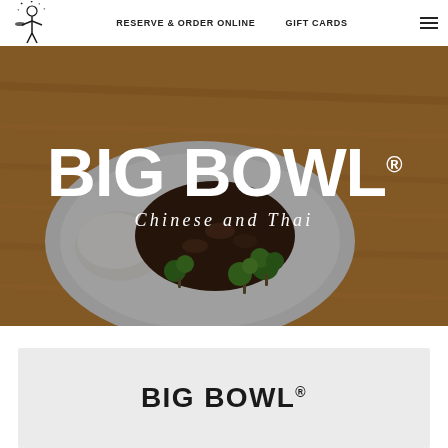RESERVE & ORDER ONLINE   GIFT CARDS
[Figure (photo): Hero image of a white bowl containing Chinese/Thai food with broccoli, beef, mushrooms in dark sauce with white rice, on a wooden table background. Overlay text reads BIG BOWL Chinese and Thai.]
BIG BOWL®